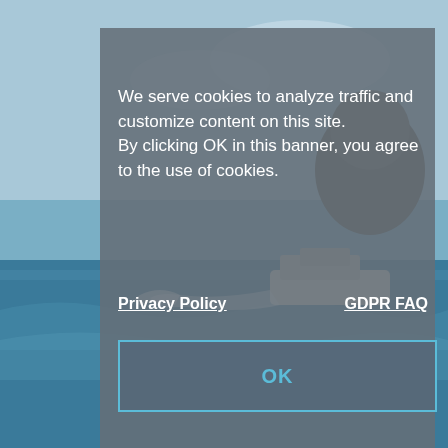[Figure (screenshot): Screenshot of a website showing a cookie consent banner overlaid on a Hawaiian ocean/boat scene. Below shows an orange LANAI bar, and a teal popup with 'Dream It. Do it.' heading and a visitors' guide offer.]
We serve cookies to analyze traffic and customize content on this site. By clicking OK in this banner, you agree to the use of cookies.
Privacy Policy    GDPR FAQ
OK
LANAI
Dream It. Do it.
Make the most of your Hawaiian vacation with our FREE Official Visitors' Guide.
LET'S GO